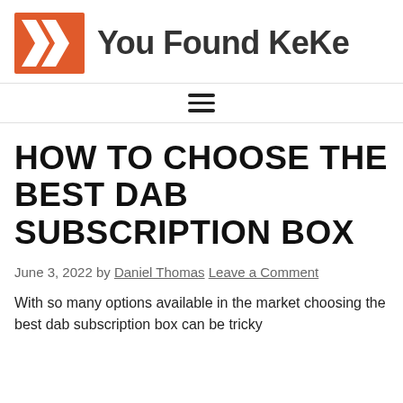You Found KeKe
[Figure (logo): You Found KeKe logo with orange background and white Y/K chevron mark, followed by bold text 'You Found KeKe']
HOW TO CHOOSE THE BEST DAB SUBSCRIPTION BOX
June 3, 2022 by Daniel Thomas Leave a Comment
With so many options available in the market choosing the best dab subscription box can be tricky